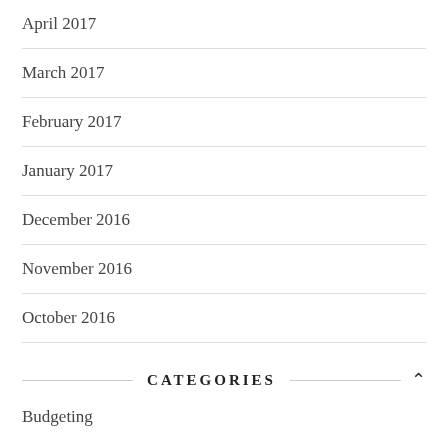April 2017
March 2017
February 2017
January 2017
December 2016
November 2016
October 2016
CATEGORIES
Budgeting